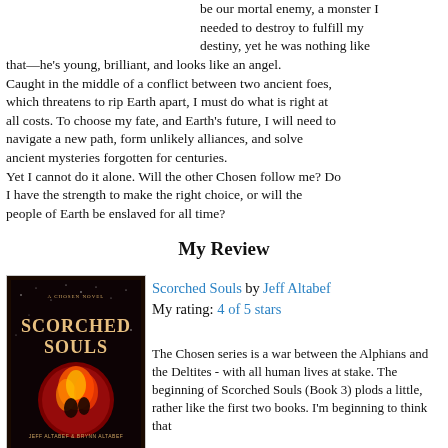be our mortal enemy, a monster I needed to destroy to fulfill my destiny, yet he was nothing like that—he's young, brilliant, and looks like an angel. Caught in the middle of a conflict between two ancient foes, which threatens to rip Earth apart, I must do what is right at all costs. To choose my fate, and Earth's future, I will need to navigate a new path, form unlikely alliances, and solve ancient mysteries forgotten for centuries. Yet I cannot do it alone. Will the other Chosen follow me? Do I have the strength to make the right choice, or will the people of Earth be enslaved for all time?
My Review
[Figure (photo): Book cover of Scorched Souls by Jeff Altabef and Brynn Altabef, showing fiery imagery on a dark background with a red circular motif]
Scorched Souls by Jeff Altabef
My rating: 4 of 5 stars
The Chosen series is a war between the Alphians and the Deltites - with all human lives at stake. The beginning of Scorched Souls (Book 3) plods a little, rather like the first two books. I'm beginning to think that